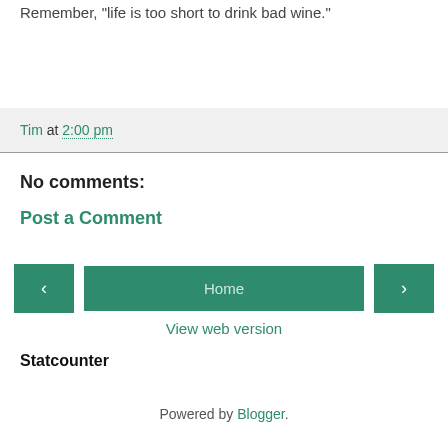Remember, "life is too short to drink bad wine."
Tim at 2:00 pm
No comments:
Post a Comment
‹  Home  ›
View web version
Statcounter
Powered by Blogger.